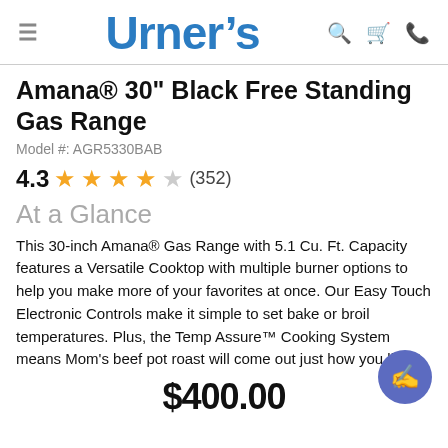Urner's
Amana® 30" Black Free Standing Gas Range
Model #: AGR5330BAB
4.3 ★★★★☆ (352)
At a Glance
This 30-inch Amana® Gas Range with 5.1 Cu. Ft. Capacity features a Versatile Cooktop with multiple burner options to help you make more of your favorites at once. Our Easy Touch Electronic Controls make it simple to set bake or broil temperatures. Plus, the Temp Assure™ Cooking System means Mom's beef pot roast will come out just how you like it.
$400.00